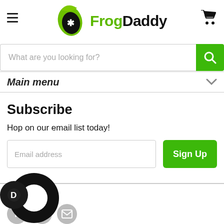[Figure (logo): FrogDaddy logo with hamburger menu and shopping cart icon]
What are you looking for?
Main menu
Subscribe
Hop on our email list today!
Email address
Sign Up
Follow us
[Figure (illustration): Social media icons: Facebook, Instagram, Email]